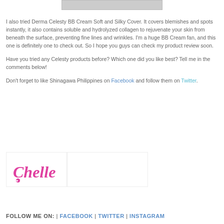[Figure (photo): Partial image at top of page, cropped]
I also tried Derma Celesty BB Cream Soft and Silky Cover. It covers blemishes and spots instantly, it also contains soluble and hydrolyzed collagen to rejuvenate your skin from beneath the surface, preventing fine lines and wrinkles. I'm a huge BB Cream fan, and this one is definitely one to check out. So I hope you guys can check my product review soon.
Have you tried any Celesty products before? Which one did you like best? Tell me in the comments below!
Don't forget to like Shinagawa Philippines on Facebook and follow them on Twitter.
[Figure (illustration): Signature graphic showing stylized cursive 'Chelle' in magenta/pink with a small heart]
FOLLOW ME ON: | FACEBOOK | TWITTER | INSTAGRAM